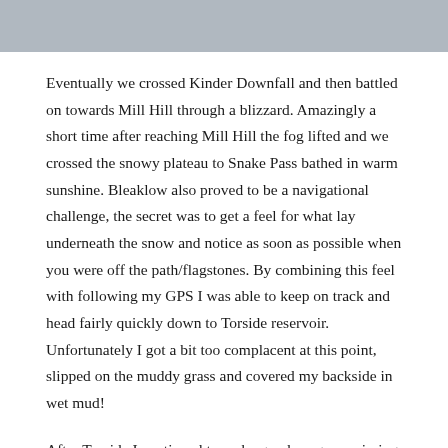[Figure (photo): Partial view of a grey/overcast outdoor photograph, likely a snowy or foggy landscape, cropped at the top of the page.]
Eventually we crossed Kinder Downfall and then battled on towards Mill Hill through a blizzard. Amazingly a short time after reaching Mill Hill the fog lifted and we crossed the snowy plateau to Snake Pass bathed in warm sunshine. Bleaklow also proved to be a navigational challenge, the secret was to get a feel for what lay underneath the snow and notice as soon as possible when you were off the path/flagstones.  By combining this feel with following my GPS I was able to keep on track and head fairly quickly down to Torside reservoir.  Unfortunately I got a bit too complacent at this point, slipped on the muddy grass and covered my backside in wet mud!
After Torside I continued to make good progress, aiming to get to Wessenden before darkness. I managed this in plenty of time and was down past the reservoir before needing to put my headtorch on. I was really pleased by this as I knew this made me a hour